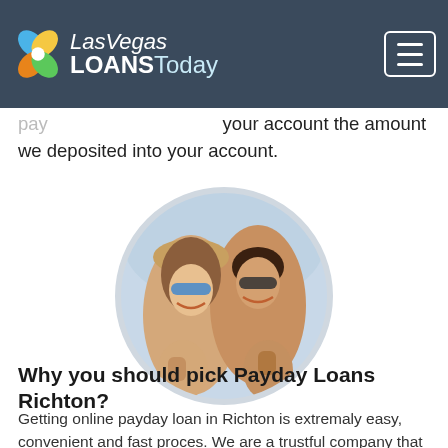Las Vegas LOANSToday
your account the amount we deposited into your account.
[Figure (photo): A smiling couple giving thumbs up, displayed in a circular crop. Woman wearing sunglasses and a hat, man wearing sunglasses.]
Why you should pick Payday Loans Richton?
Getting online payday loan in Richton is extremaly easy, convenient and fast proces. We are a trustful company that